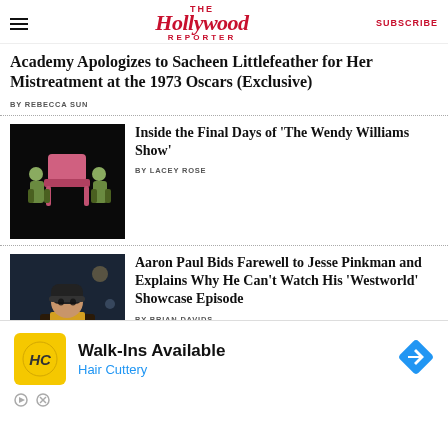The Hollywood Reporter | SUBSCRIBE
Academy Apologizes to Sacheen Littlefeather for Her Mistreatment at the 1973 Oscars (Exclusive)
BY REBECCA SUN
[Figure (photo): Two people in green shirts carrying a pink chair against a black background]
Inside the Final Days of ‘The Wendy Williams Show’
BY LACEY ROSE
[Figure (photo): Man in dark coat and beanie hat, outdoor night scene]
Aaron Paul Bids Farewell to Jesse Pinkman and Explains Why He Can’t Watch His ‘Westworld’ Showcase Episode
BY BRIAN DAVIDS
[Figure (infographic): Hair Cuttery advertisement: Walk-Ins Available with yellow HC logo and blue navigation arrow icon]